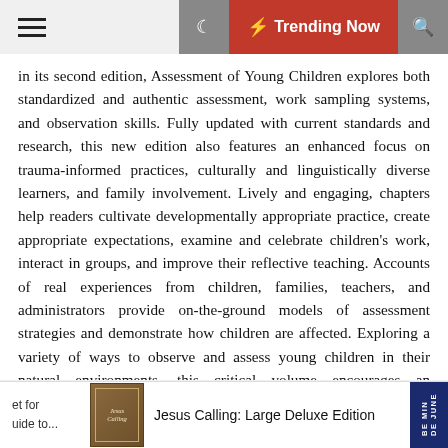☰   🌙  ⚡ Trending Now  🔍
in its second edition, Assessment of Young Children explores both standardized and authentic assessment, work sampling systems, and observation skills. Fully updated with current standards and research, this new edition also features an enhanced focus on trauma-informed practices, culturally and linguistically diverse learners, and family involvement. Lively and engaging, chapters help readers cultivate developmentally appropriate practice, create appropriate expectations, examine and celebrate children's work, interact in groups, and improve their reflective teaching. Accounts of real experiences from children, families, teachers, and administrators provide on-the-ground models of assessment strategies and demonstrate how children are affected. Exploring a variety of ways to observe and assess young children in their natural environments, this critical volume encourages an assessment strategy where the child remains the focus and collaboration with children, families, and colleagues creates an image – not a diagnosis – of the child that is empowering rather
[Figure (screenshot): Bottom advertisement banner showing: partial text 'et for', 'uide to...', a book cover image for 'Jesus Calling: Large Deluxe Edition', and a sidebar ad]
Jesus Calling: Large Deluxe Edition